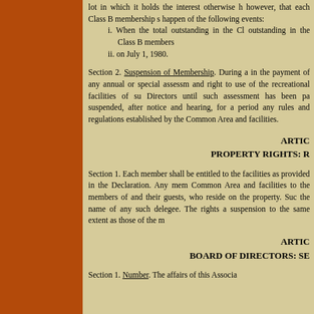lot in which it holds the interest otherwise h however, that each Class B membership s happen of the following events:
i. When the total outstanding in the Cl outstanding in the Class B members
ii. on July 1, 1980.
Section 2. Suspension of Membership. During a in the payment of any annual or special assessm and right to use of the recreational facilities of su Directors until such assessment has been pa suspended, after notice and hearing, for a perio any rules and regulations established by the Common Area and facilities.
ARTIC PROPERTY RIGHTS: R
Section 1. Each member shall be entitled to the facilities as provided in the Declaration. Any mem Common Area and facilities to the members of and their guests, who reside on the property. Su the name of any such delegee. The rights a suspension to the same extent as those of the m
ARTIC BOARD OF DIRECTORS: SE
Section 1. Number. The affairs of this Associa